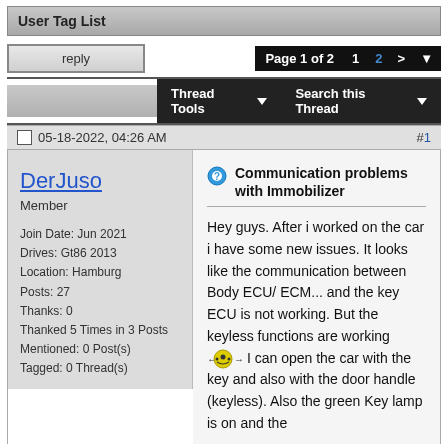User Tag List
reply | Page 1 of 2  1  2  >
Thread Tools ▼  Search this Thread ▼
05-18-2022, 04:26 AM  #1
DerJuso
Member
Join Date: Jun 2021
Drives: Gt86 2013
Location: Hamburg
Posts: 27
Thanks: 0
Thanked 5 Times in 3 Posts
Mentioned: 0 Post(s)
Tagged: 0 Thread(s)
Communication problems with Immobilizer

Hey guys. After i worked on the car i have some new issues. It looks like the communication between Body ECU/ ECM... and the key ECU is not working. But the keyless functions are working 🔑 I can open the car with the key and also with the door handle (keyless). Also the green Key lamp is on and the